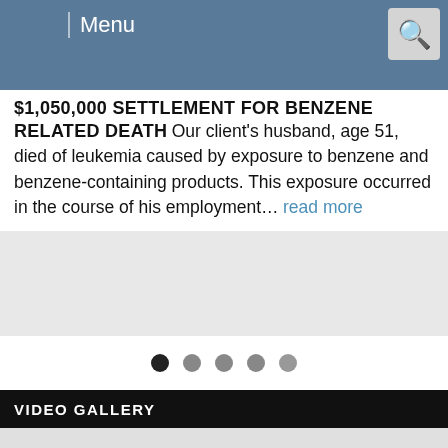Menu
$1,050,000 SETTLEMENT FOR BENZENE RELATED DEATH Our client's husband, age 51, died of leukemia caused by exposure to benzene and benzene-containing products. This exposure occurred in the course of his employment… read more
VIDEO GALLERY
[Figure (screenshot): Video gallery promotional banner with tablet showing a woman speaking in front of a Rudberg Law Offices backdrop, with play button overlay. Text reads: VIDEO GALLERY / Click here to view our latest firm videos.]
LIVE CHAT START NOW
[Figure (logo): Rudberg Law Offices, LLC logo]